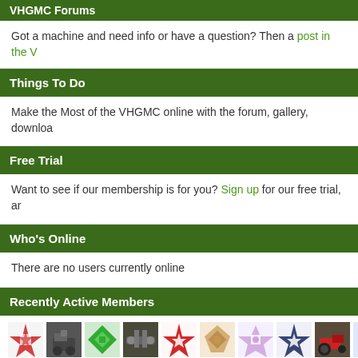VHGMC Forums
Got a machine and need info or have a question? Then a post in the V...
Things To Do
Make the Most of the VHGMC online with the forum, gallery, downloa...
Free Trial
Want to see if our membership is for you? Sign up for our free trial, an...
Who's Online
There are no users currently online
Recently Active Members
[Figure (photo): Row of member avatar thumbnails showing various quilt patterns and machinery photos]